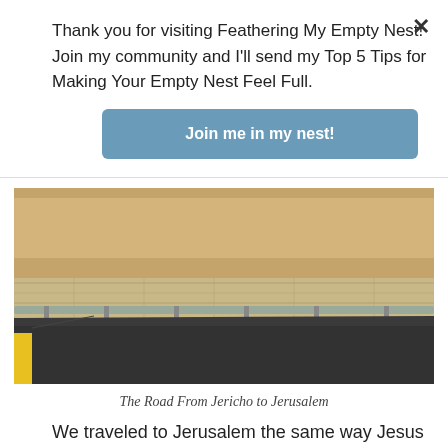Thank you for visiting Feathering My Empty Nest! Join my community and I'll send my Top 5 Tips for Making Your Empty Nest Feel Full.
Join me in my nest!
[Figure (photo): A road with a yellow line on the left, guardrails, and sandy/rocky terrain in the background — The Road From Jericho to Jerusalem]
The Road From Jericho to Jerusalem
We traveled to Jerusalem the same way Jesus traveled from the Sea of Galilee, except we were in large buses.  We drove on a road that followed along the Jordan River.  It is the same route ancient travelers from the north would